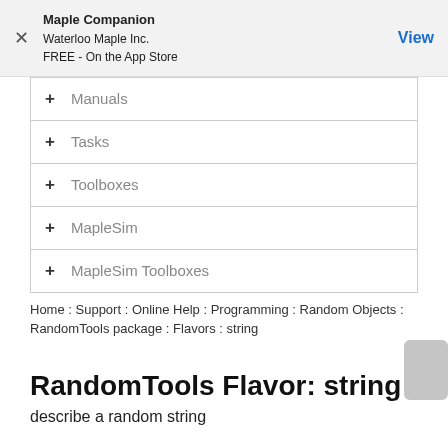[Figure (screenshot): App Store banner with Maple Companion by Waterloo Maple Inc., FREE - On the App Store, with a View button]
+ Manuals
+ Tasks
+ Toolboxes
+ MapleSim
+ MapleSim Toolboxes
Home : Support : Online Help : Programming : Random Objects : RandomTools package : Flavors : string
RandomTools Flavor: string
describe a random string